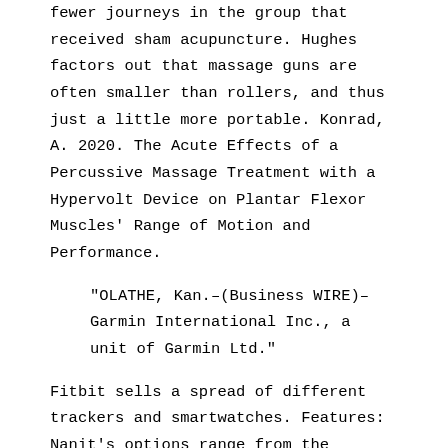fewer journeys in the group that received sham acupuncture. Hughes factors out that massage guns are often smaller than rollers, and thus just a little more portable. Konrad, A. 2020. The Acute Effects of a Percussive Massage Treatment with a Hypervolt Device on Plantar Flexor Muscles' Range of Motion and Performance.
“OLATHE, Kan.–(Business WIRE)–Garmin International Inc., a unit of Garmin Ltd.”
Fitbit sells a spread of different trackers and smartwatches. Features: Nanit’s options range from the familiar (two-approach audio, built-in nightlight and white noise) to the gimmicky (“smart sheets” — bought separately — these